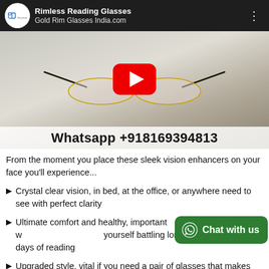[Figure (screenshot): YouTube video thumbnail showing rimless gold reading glasses on a white stand, with title 'Rimless Reading Glasses Gold Rim Glasses India.com' and channel icon. Play button overlay. Whatsapp +918169394813 shown at bottom of video.]
From the moment you place these sleek vision enhancers on your face you'll experience...
Crystal clear vision, in bed, at the office, or anywhere need to see with perfect clarity
Ultimate comfort and healthy, important w... yourself battling long days of reading
Upgraded style, vital if you need a pair of glasses that makes